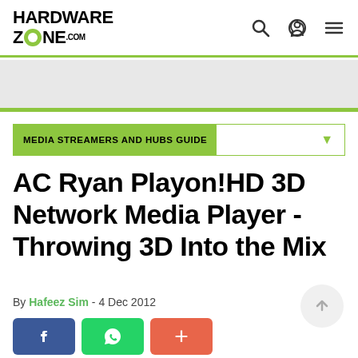HardwareZone.com
MEDIA STREAMERS AND HUBS GUIDE
AC Ryan Playon!HD 3D Network Media Player - Throwing 3D Into the Mix
By Hafeez Sim - 4 Dec 2012